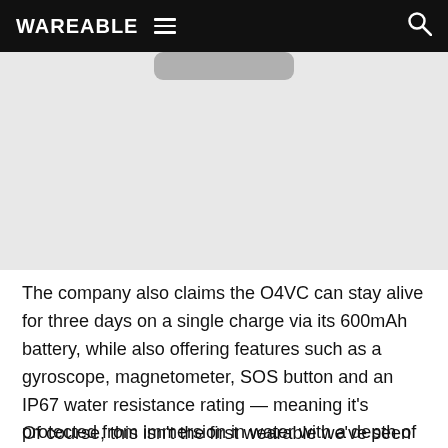WAREABLE
[Figure (photo): A product image area showing a partial view of a wearable device (O4VC) on a light grey background, with a rounded dark bar visible at the top.]
The company also claims the O4VC can stay alive for three days on a single charge via its 600mAh battery, while also offering features such as a gyroscope, magnetometer, SOS button and an IP67 water resistance rating — meaning it's protected from immersion in water with a depth of up to 1 metre for up to 30 mins.
Of course, this isn't the first wearable we've seen from the